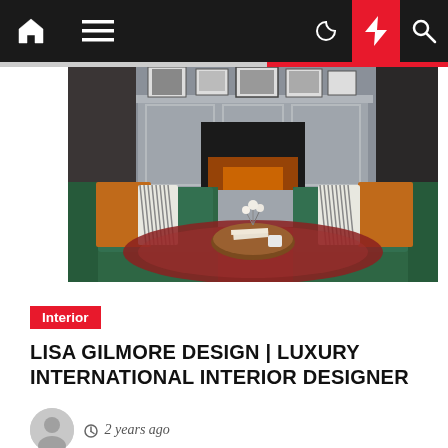[Figure (screenshot): Website navigation bar with home icon, hamburger menu, moon icon, lightning bolt icon (red background), and search icon]
[Figure (photo): Interior design photo of a luxury living room with green velvet sofas, orange cushions, a gray fireplace surround with artwork displayed above, and a patterned rug]
Interior
LISA GILMORE DESIGN | LUXURY INTERNATIONAL INTERIOR DESIGNER
2 years ago